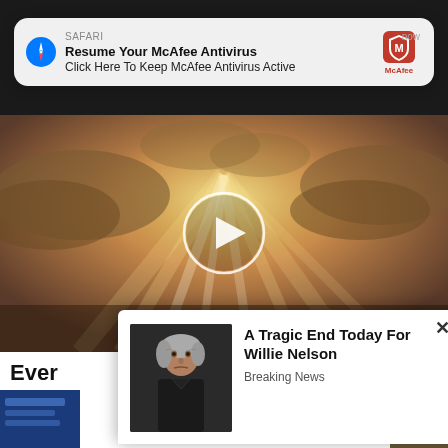[Figure (screenshot): Safari browser push notification showing McAfee Antivirus ad: 'Resume Your McAfee Antivirus - Click Here To Keep McAfee Antivirus Active', with McAfee logo, timestamp 'now']
[Figure (photo): Dramatic sky with sunbeams breaking through clouds, golden/amber tones, video player with play button overlay]
Ever
Watc
26,8
[Figure (screenshot): Popup advertisement showing photo of elderly man (Willie Nelson) with headline 'A Tragic End Today For Willie Nelson' and subtext 'Breaking News', with X close button]